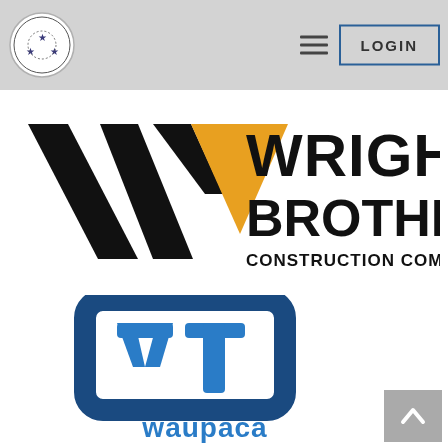Navigation header with logo, hamburger menu, and LOGIN button
[Figure (logo): Wright Brothers Construction Company, Inc. logo — black double-W chevron mark with gold triangle accent, and bold black text WRIGHT BROTHERS CONSTRUCTION COMPANY, INC.]
[Figure (logo): Waupaca logo — stylized blue W mark inside a blue rounded octagonal border, with 'waupaca' text in blue below]